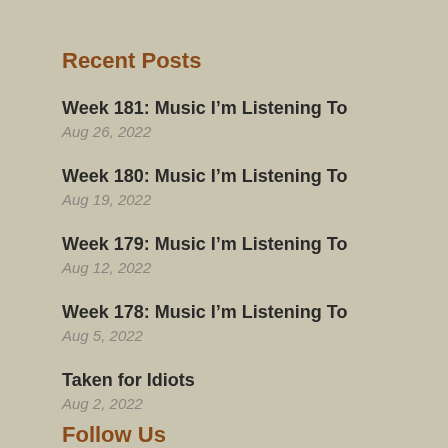Recent Posts
Week 181: Music I’m Listening To
Aug 26, 2022
Week 180: Music I’m Listening To
Aug 19, 2022
Week 179: Music I’m Listening To
Aug 12, 2022
Week 178: Music I’m Listening To
Aug 5, 2022
Taken for Idiots
Aug 2, 2022
Follow Us